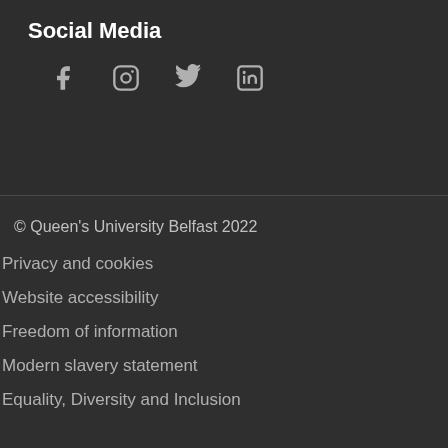Social Media
[Figure (illustration): Social media icons: Facebook, Instagram, Twitter, LinkedIn]
© Queen's University Belfast 2022
Privacy and cookies
Website accessibility
Freedom of information
Modern slavery statement
Equality, Diversity and Inclusion